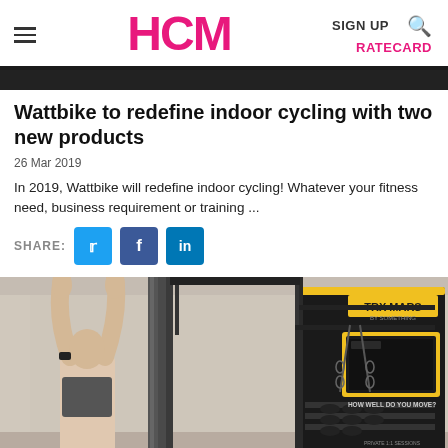HCM | SIGN UP | RATECARD
Wattbike to redefine indoor cycling with two new products
26 Mar 2019
In 2019, Wattbike will redefine indoor cycling! Whatever your fitness need, business requirement or training ...
SHARE: [Twitter] [Facebook] [LinkedIn]
[Figure (photo): Gym interior showing a person with raised hands near a pillar, and a large black and yellow TRX MARS training machine with shelves, chains, and a screen. Text on machine reads 'HOW WELL DO YOU MOVE?' and 'PRIVATE 1:1 SESSIONS'.]